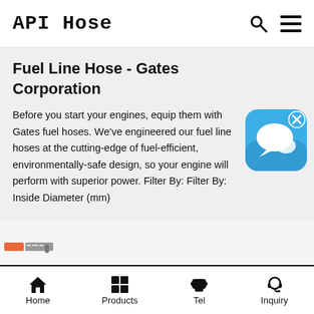API Hose
Fuel Line Hose - Gates Corporation
Before you start your engines, equip them with Gates fuel hoses. We've engineered our fuel line hoses at the cutting-edge of fuel-efficient, environmentally-safe design, so your engine will perform with superior power. Filter By: Filter By: Inside Diameter (mm)
[Figure (illustration): Blue chat bubble app icon with white speech bubble graphics and a small X close button in top right corner]
[Figure (logo): Small orange and grey logo strip]
CMC Technologies | Brilex Bursting Discs - Explosion Vents
Home   Products   Tel   Inquiry